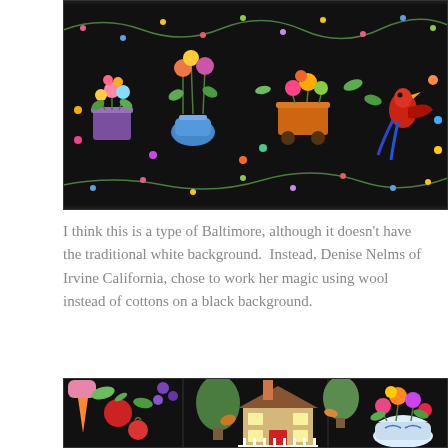[Figure (photo): Close-up photo of a colorful Baltimore-style quilt with black background, showing rows of appliquéd flower arrangements in pots and vases with vines and berries, made from wool in vibrant colors.]
I think this is a type of Baltimore, although it doesn't have the traditional white background.  Instead, Denise Nelms of Irvine California, chose to work her magic using wool instead of cottons on a black background.
[Figure (photo): Close-up photo of the lower portion of a Baltimore-style wool quilt on black background, showing appliquéd blocks with vegetables, fruit, trees, a house with picket fence, and flowers in a decorative bowl.]